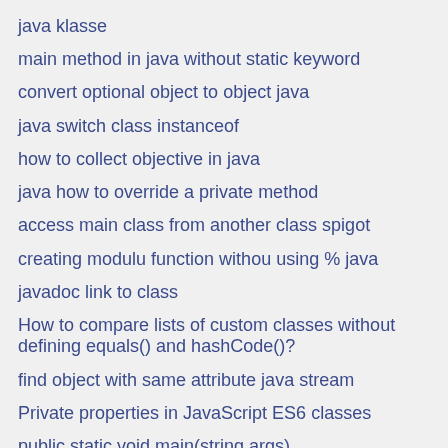java klasse
main method in java without static keyword
convert optional object to object java
java switch class instanceof
how to collect objective in java
java how to override a private method
access main class from another class spigot
creating modulu function withou using % java
javadoc link to class
How to compare lists of custom classes without defining equals() and hashCode()?
find object with same attribute java stream
Private properties in JavaScript ES6 classes
public static void main(string args)